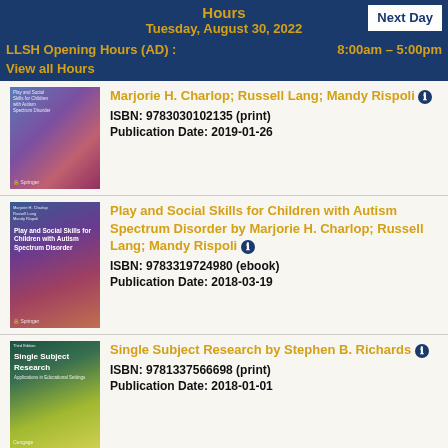Hours
Tuesday, August 30, 2022
Next Day
LLSH Opening Hours (AD) :   8:00am – 5:00pm
View all Hours
[Figure (photo): Book cover: Play and Social Skills for Children with Autism Spectrum Disorder (partially clipped at top)]
Marjorie H. Charlop; Russell Lang; Mandy Rispoli
ISBN: 9783030102135 (print)
Publication Date: 2019-01-26
[Figure (photo): Book cover: Play and Social Skills for Children with Autism Spectrum Disorder]
Play and Social Skills for Children with Autism Spectrum Disorder by Marjorie H. Charlop; Russell Lang; Mandy Rispoli
ISBN: 9783319724980 (ebook)
Publication Date: 2018-03-19
[Figure (photo): Book cover: Single Subject Research]
Single Subject Research by Stephen B. Richards
ISBN: 9781337566698 (print)
Publication Date: 2018-01-01